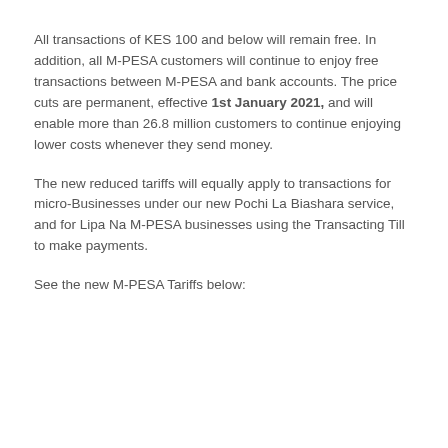All transactions of KES 100 and below will remain free. In addition, all M-PESA customers will continue to enjoy free transactions between M-PESA and bank accounts. The price cuts are permanent, effective 1st January 2021, and will enable more than 26.8 million customers to continue enjoying lower costs whenever they send money.
The new reduced tariffs will equally apply to transactions for micro-Businesses under our new Pochi La Biashara service, and for Lipa Na M-PESA businesses using the Transacting Till to make payments.
See the new M-PESA Tariffs below: